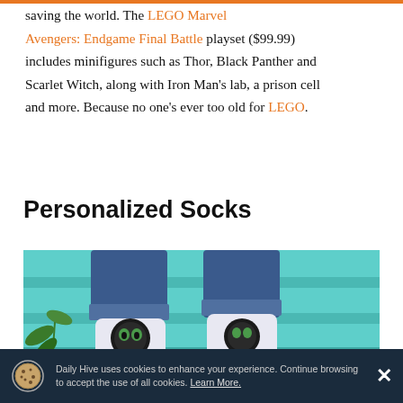saving the world. The LEGO Marvel Avengers: Endgame Final Battle playset ($99.99) includes minifigures such as Thor, Black Panther and Scarlet Witch, along with Iron Man's lab, a prison cell and more. Because no one's ever too old for LEGO.
Personalized Socks
[Figure (photo): Photo of person wearing cat-printed socks with brown leather dress shoes, standing on teal/turquoise painted steps with a plant visible on the left side.]
Daily Hive uses cookies to enhance your experience. Continue browsing to accept the use of all cookies. Learn More.